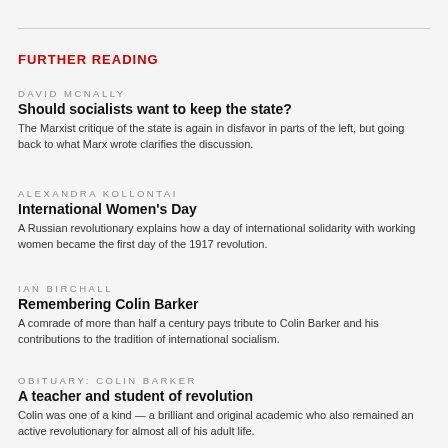FURTHER READING
DAVID MCNALLY
Should socialists want to keep the state?
The Marxist critique of the state is again in disfavor in parts of the left, but going back to what Marx wrote clarifies the discussion.
ALEXANDRA KOLLONTAI
International Women's Day
A Russian revolutionary explains how a day of international solidarity with working women became the first day of the 1917 revolution.
IAN BIRCHALL
Remembering Colin Barker
A comrade of more than half a century pays tribute to Colin Barker and his contributions to the tradition of international socialism.
OBITUARY: COLIN BARKER
A teacher and student of revolution
Colin was one of a kind — a brilliant and original academic who also remained an active revolutionary for almost all of his adult life.